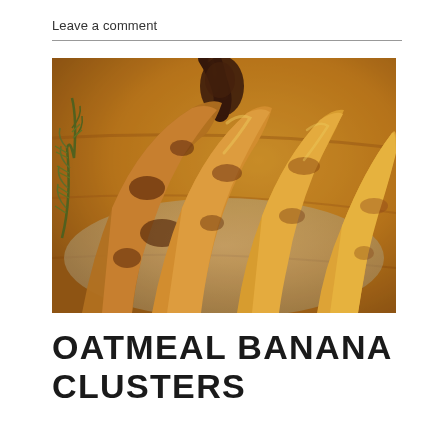Leave a comment
[Figure (photo): Close-up photograph of a bunch of ripe, spotty bananas with dark brown marks on a wooden surface, with green herbs (rosemary) visible on the left side]
OATMEAL BANANA CLUSTERS